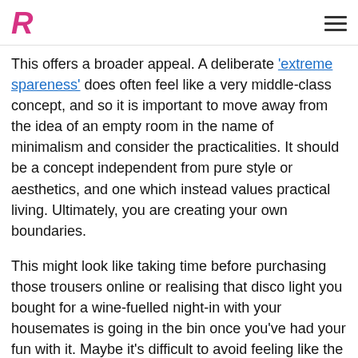R
This offers a broader appeal. A deliberate 'extreme spareness' does often feel like a very middle-class concept, and so it is important to move away from the idea of an empty room in the name of minimalism and consider the practicalities. It should be a concept independent from pure style or aesthetics, and one which instead values practical living. Ultimately, you are creating your own boundaries.
This might look like taking time before purchasing those trousers online or realising that disco light you bought for a wine-fuelled night-in with your housemates is going in the bin once you've had your fun with it. Maybe it's difficult to avoid feeling like the ultimate buzzkill in deciding that the disco light is a no- but ideally (the thing) is just right to give in...